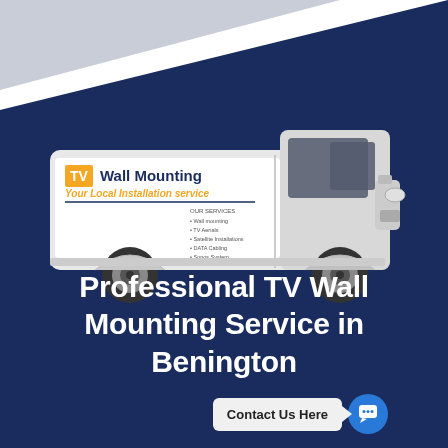[Figure (illustration): White commercial van with 'TV Wall Mounting - Your Local Installation service' branding on a dark navy blue background with white/gray triangular accent in top-left corner]
Professional TV Wall Mounting Service in Benington
Contact Us Here